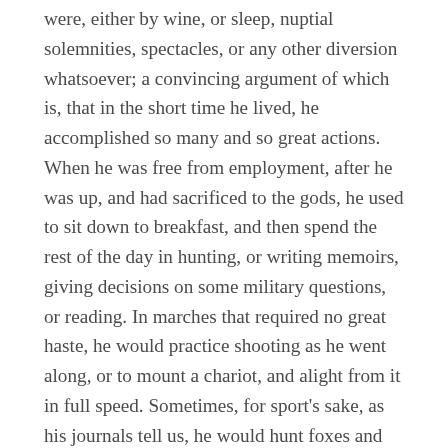were, either by wine, or sleep, nuptial solemnities, spectacles, or any other diversion whatsoever; a convincing argument of which is, that in the short time he lived, he accomplished so many and so great actions. When he was free from employment, after he was up, and had sacrificed to the gods, he used to sit down to breakfast, and then spend the rest of the day in hunting, or writing memoirs, giving decisions on some military questions, or reading. In marches that required no great haste, he would practice shooting as he went along, or to mount a chariot, and alight from it in full speed. Sometimes, for sport's sake, as his journals tell us, he would hunt foxes and go fowling. When he came in for the evening, after he had bathed and was anointed, he would call for his bakers and chief cooks, to know if they had his dinner ready. He never cared to dine till it was